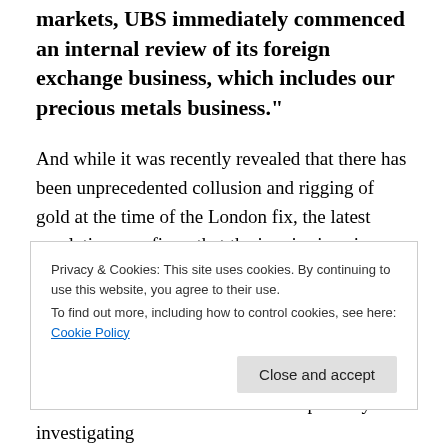markets, UBS immediately commenced an internal review of its foreign exchange business, which includes our precious metals business."
And while it was recently revealed that there has been unprecedented collusion and rigging of gold at the time of the London fix, the latest revelations confirms that the inquiry is going beyond merely what the venerable five member banks of the London Gold Market Fixing Ltd, on the premises of N M Rothschild & Sons: after all UBS is not part of this particular criminal syndicate, which at last
Privacy & Cookies: This site uses cookies. By continuing to use this website, you agree to their use.
To find out more, including how to control cookies, see here: Cookie Policy
"A number of authorities also are reportedly investigating